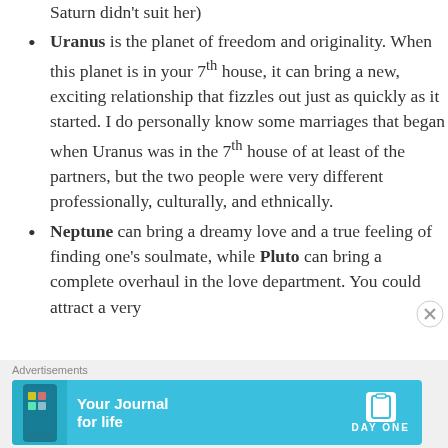Saturn didn't suit her)
Uranus is the planet of freedom and originality. When this planet is in your 7th house, it can bring a new, exciting relationship that fizzles out just as quickly as it started. I do personally know some marriages that began when Uranus was in the 7th house of at least of the partners, but the two people were very different professionally, culturally, and ethnically.
Neptune can bring a dreamy love and a true feeling of finding one's soulmate, while Pluto can bring a complete overhaul in the love department. You could attract a very
[Figure (other): Advertisement banner for Day One 'Your Journal for life' app, with cyan/blue background and app logo.]